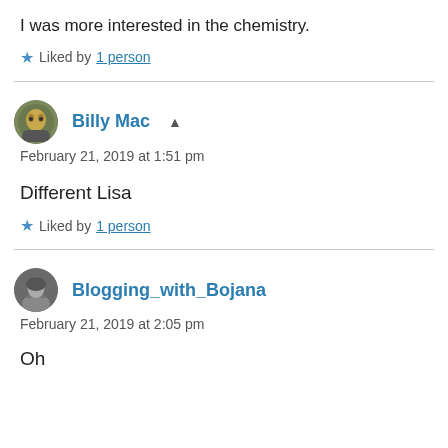I was more interested in the chemistry.
★ Liked by 1 person
Billy Mac ▲
February 21, 2019 at 1:51 pm
Different Lisa
★ Liked by 1 person
Blogging_with_Bojana
February 21, 2019 at 2:05 pm
Oh